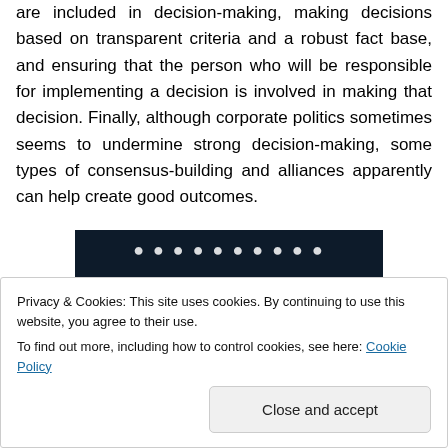are included in decision-making, making decisions based on transparent criteria and a robust fact base, and ensuring that the person who will be responsible for implementing a decision is involved in making that decision. Finally, although corporate politics sometimes seems to undermine strong decision-making, some types of consensus-building and alliances apparently can help create good outcomes.
[Figure (screenshot): Dark navy background image with pink/rose horizontal bar element and a light gray circle, partially visible at bottom right. Some text overlay at top (partially cropped).]
Privacy & Cookies: This site uses cookies. By continuing to use this website, you agree to their use.
To find out more, including how to control cookies, see here: Cookie Policy